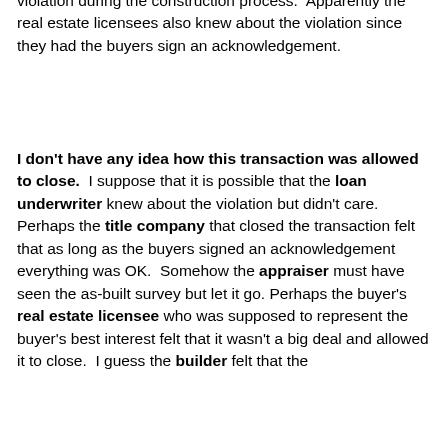violation during the construction process.  Apparently the real estate licensees also knew about the violation since they had the buyers sign an acknowledgement.
I don't have any idea how this transaction was allowed to close.  I suppose that it is possible that the loan underwriter knew about the violation but didn't care.  Perhaps the title company that closed the transaction felt that as long as the buyers signed an acknowledgement everything was OK.  Somehow the appraiser must have seen the as-built survey but let it go.  Perhaps the buyer's real estate licensee who was supposed to represent the buyer's best interest felt that it wasn't a big deal and allowed it to close.  I guess the builder felt that the